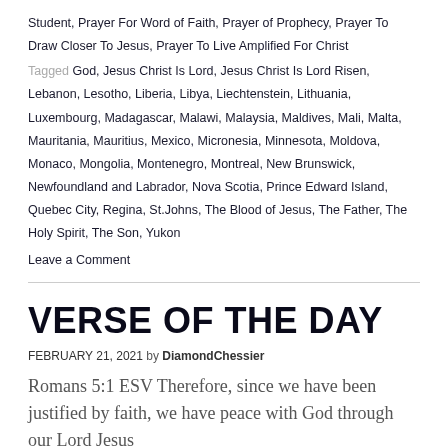Student, Prayer For Word of Faith, Prayer of Prophecy, Prayer To Draw Closer To Jesus, Prayer To Live Amplified For Christ
Tagged God, Jesus Christ Is Lord, Jesus Christ Is Lord Risen, Lebanon, Lesotho, Liberia, Libya, Liechtenstein, Lithuania, Luxembourg, Madagascar, Malawi, Malaysia, Maldives, Mali, Malta, Mauritania, Mauritius, Mexico, Micronesia, Minnesota, Moldova, Monaco, Mongolia, Montenegro, Montreal, New Brunswick, Newfoundland and Labrador, Nova Scotia, Prince Edward Island, Quebec City, Regina, St.Johns, The Blood of Jesus, The Father, The Holy Spirit, The Son, Yukon
Leave a Comment
VERSE OF THE DAY
FEBRUARY 21, 2021 by DiamondChessier
Romans 5:1 ESV Therefore, since we have been justified by faith, we have peace with God through our Lord Jesus